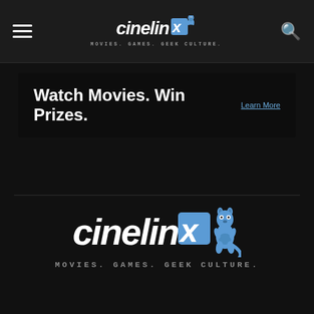cinelinx — MOVIES. GAMES. GEEK CULTURE.
[Figure (infographic): Advertisement banner: black background with white bold text 'Watch Movies. Win Prizes.' and a 'Learn More' link in blue on the right.]
[Figure (logo): Cinelinx logo — large white italic wordmark 'cinelinx' with blue X and kangaroo mascot, tagline 'MOVIES. GAMES. GEEK CULTURE.' below]